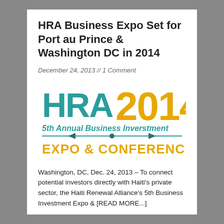HRA Business Expo Set for Port au Prince & Washington DC in 2014
December 24, 2013 // 1 Comment
[Figure (logo): HRA 2014 5th Annual Business Inverstment Expo & Conference logo with teal HRA text and orange 2014 numeral]
Washington, DC, Dec. 24, 2013 – To connect potential investors directly with Haiti's private sector, the Haiti Renewal Alliance's 5th Business Investment Expo & [READ MORE...]